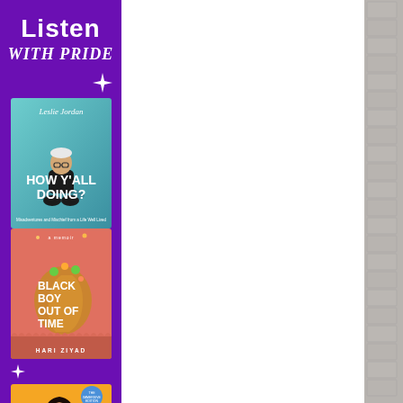Listen WITH PRIDE
[Figure (illustration): Book cover: Leslie Jordan - HOW Y'ALL DOING? Misadventures and Mischief from a Life Well Lived. Teal/aqua background with author seated cross-legged.]
[Figure (illustration): Book cover: BLACK BOY OUT OF TIME by Hari Ziyad. Coral/salmon pink background with illustrated profile of a person with floral elements.]
[Figure (illustration): Book cover: Tan France. Yellow/orange background with photo of Tan France in a suit.]